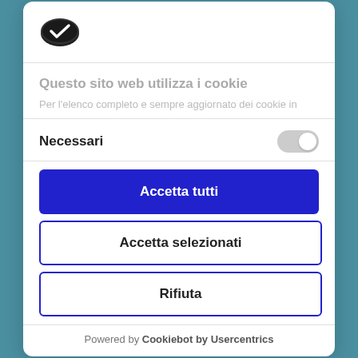[Figure (logo): Cookiebot logo: stylized cookie icon in dark oval shape with checkmark]
Questo sito web utilizza i cookie
Per l'elenco completo e sempre aggiornato dei cookie in
Necessari
[Figure (other): Toggle switch in off/grey state]
Accetta tutti
Accetta selezionati
Rifiuta
Powered by Cookiebot by Usercentrics